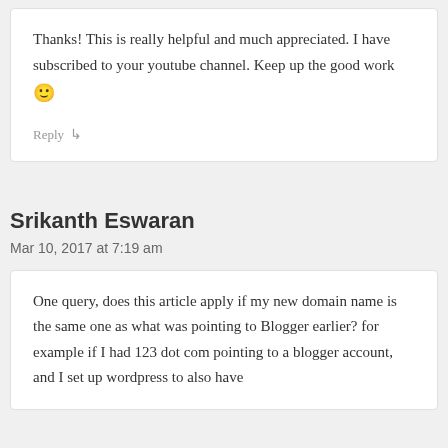Thanks! This is really helpful and much appreciated. I have subscribed to your youtube channel. Keep up the good work 🙂
Reply ↳
Srikanth Eswaran
Mar 10, 2017 at 7:19 am
One query, does this article apply if my new domain name is the same one as what was pointing to Blogger earlier? for example if I had 123 dot com pointing to a blogger account, and I set up wordpress to also have